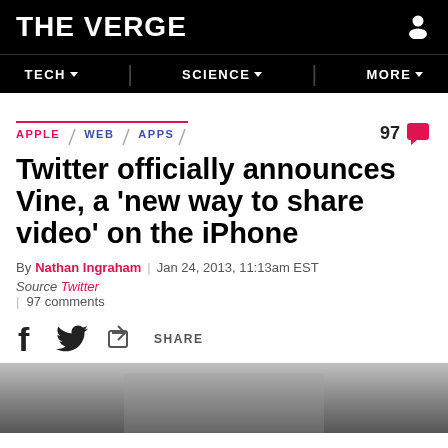THE VERGE
TECH  SCIENCE  MORE
APPLE  WEB  APPS  97 comments
Twitter officially announces Vine, a 'new way to share video' on the iPhone
By Nathan Ingraham | Jan 24, 2013, 11:13am EST
Source Twitter | 97 comments
SHARE
[Figure (photo): Bottom strip of an image, partially visible at bottom of page, grayscale]